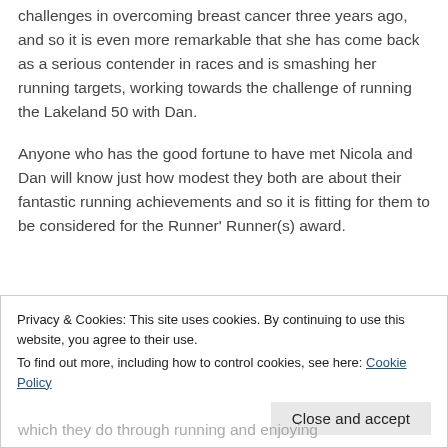challenges in overcoming breast cancer three years ago, and so it is even more remarkable that she has come back as a serious contender in races and is smashing her running targets, working towards the challenge of running the Lakeland 50 with Dan.
Anyone who has the good fortune to have met Nicola and Dan will know just how modest they both are about their fantastic running achievements and so it is fitting for them to be considered for the Runner' Runner(s) award.
“Both are amazing runners and have achieved a lot this year. Red Rose isn’t just about running fast
Privacy & Cookies: This site uses cookies. By continuing to use this website, you agree to their use.
To find out more, including how to control cookies, see here: Cookie Policy
which they do through running and enjoying